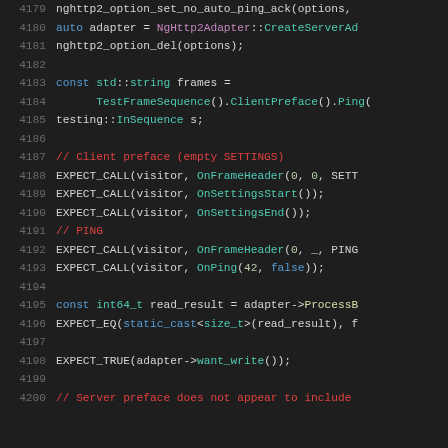[Figure (screenshot): Syntax-highlighted C++ source code lines 4179–4200 on a dark background editor theme. Code shows HTTP/2 adapter test setup with EXPECT_CALL macros and visitor callbacks.]